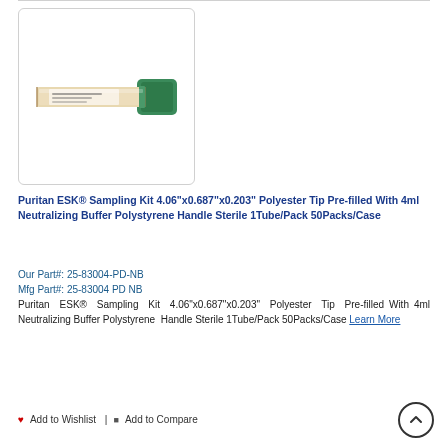[Figure (photo): A Puritan ESK sampling kit tube with green cap, horizontal orientation on white background]
Puritan ESK® Sampling Kit 4.06"x0.687"x0.203" Polyester Tip Pre-filled With 4ml Neutralizing Buffer Polystyrene Handle Sterile 1Tube/Pack 50Packs/Case
Our Part#: 25-83004-PD-NB
Mfg Part#: 25-83004 PD NB
Puritan ESK® Sampling Kit 4.06"x0.687"x0.203" Polyester Tip Pre-filled With 4ml Neutralizing Buffer Polystyrene Handle Sterile 1Tube/Pack 50Packs/Case Learn More
♥ Add to Wishlist  |  ⊞ Add to Compare